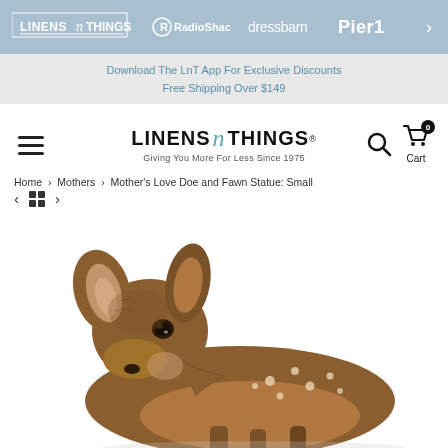LINENS n THINGS  RadioShack  dressbarn  Pier1  >
Download The LnT App For Exclusive Discounts
Free Shipping Over $149
[Figure (logo): LINENS n THINGS logo with tagline: Giving You More For Less Since 1975, with hamburger menu, search icon, and cart icon showing 0 items]
Home > Mothers > Mother's Love Doe and Fawn Statue: Small
[Figure (photo): Close-up photo of a realistic doe and fawn deer statue, brown with white spots on the fawn, looking toward camera, on white background]